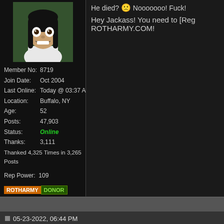[Figure (photo): Avatar photo of a person with long dark hair and wide eyes wearing a white t-shirt against a green wall background]
Member No: 8719
Join Date: Oct 2004
Last Online: Today @ 03:37 AM
Location: Buffalo, NY
Age: 52
Posts: 47,903
Status: Online
Thanks: 3,111
Thanked 4,325 Times in 3,265 Posts
Rep Power: 109
[Figure (logo): ROTHARMY DONOR badge]
He died? Nooooooo! Fuck!
Hey Jackass! You need to [Reg ROTHARMY.COM!
05-23-2022, 06:44 PM
Kristy
F A T Barb Lives Matter
DIAMOND STATUS
Originally Posted by V